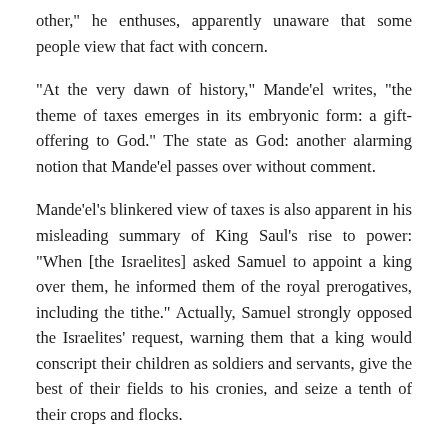other," he enthuses, apparently unaware that some people view that fact with concern.
"At the very dawn of history," Mande'el writes, "the theme of taxes emerges in its embryonic form: a gift-offering to God." The state as God: another alarming notion that Mande'el passes over without comment.
Mande'el's blinkered view of taxes is also apparent in his misleading summary of King Saul's rise to power: "When [the Israelites] asked Samuel to appoint a king over them, he informed them of the royal prerogatives, including the tithe." Actually, Samuel strongly opposed the Israelites' request, warning them that a king would conscript their children as soldiers and servants, give the best of their fields to his cronies, and seize a tenth of their crops and flocks.